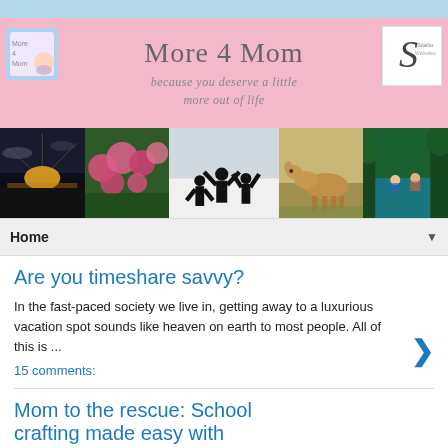[Figure (illustration): Light blue decorative top bar]
[Figure (illustration): Pink website header banner with site title 'More 4 Mom', subtitle 'because you deserve a little more out of life', left logo (colorful book/baby illustration), right logo (stylized S with text)]
[Figure (photo): Strip of five photos: sunset landscape, pink flowers, family silhouette jumping, deer in field, people in water/jungle]
Home ▼
Are you timeshare savvy?
In the fast-paced society we live in, getting away to a luxurious vacation spot sounds like heaven on earth to most people. All of this is ...
15 comments:
Mom to the rescue: School crafting made easy with